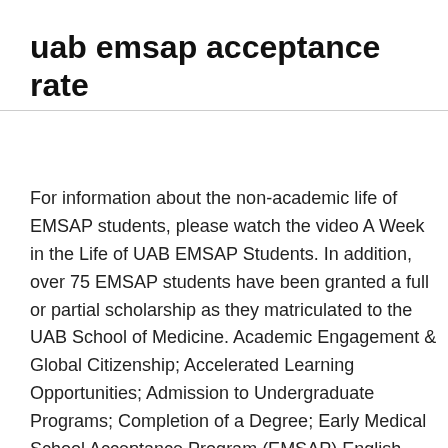uab emsap acceptance rate
For information about the non-academic life of EMSAP students, please watch the video A Week in the Life of UAB EMSAP Students. In addition, over 75 EMSAP students have been granted a full or partial scholarship as they matriculated to the UAB School of Medicine. Academic Engagement & Global Citizenship; Accelerated Learning Opportunities; Admission to Undergraduate Programs; Completion of a Degree; Early Medical School Acceptance Program (EMSAP) English Language Programs, INTO UAB; Financial Information; Freshman Year; New Student Orientation UAB is an Equal Opportunity/Affirmative